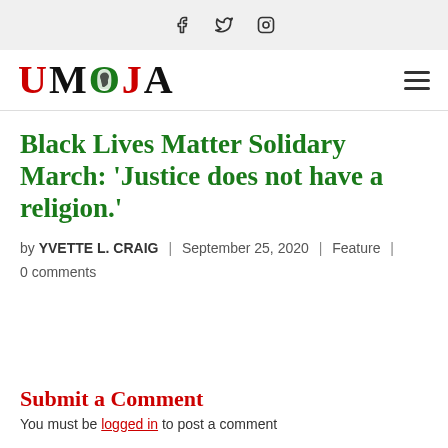f  ✓  ◻ (social media icons: Facebook, Twitter, Instagram)
[Figure (logo): UMOJA logo with red, black and green lettering and an Africa continent silhouette inside the O]
Black Lives Matter Solidary March: 'Justice does not have a religion.'
by YVETTE L. CRAIG | September 25, 2020 | Feature | 0 comments
Submit a Comment
You must be logged in to post a comment